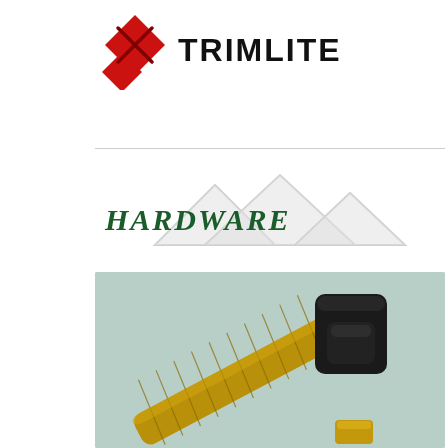[Figure (logo): Trimlite logo with red diamond shape and bold black TRIMLITE text]
[Figure (illustration): HARDWARE section title with gray mountain/diamond watermark behind dark green italic bold HARDWARE text]
[Figure (photo): Photo of a door lever handle set with matte black square rose/knob and knurled brass/gold finish lever handle, on a light teal/sage green background, with a small brass piece visible at bottom right]